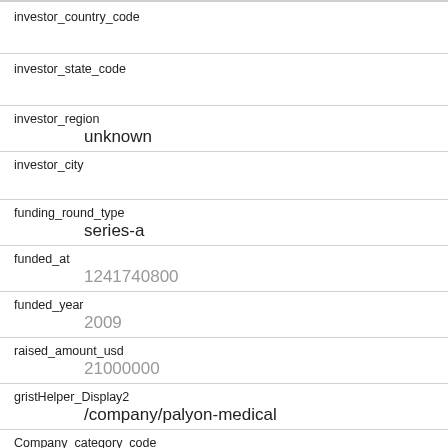investor_country_code
investor_state_code
investor_region
unknown
investor_city
funding_round_type
series-a
funded_at
1241740800
funded_year
2009
raised_amount_usd
21000000
gristHelper_Display2
/company/palyon-medical
Company_category_code
biotech